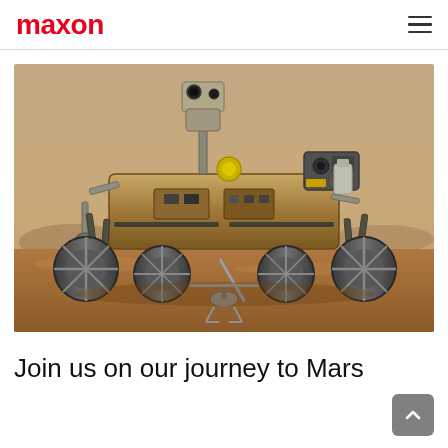maxon
[Figure (photo): Mars rover (Perseverance) with Ingenuity helicopter on the Martian surface, detailed view of rover body, wheels, mast, and instruments against a dusty reddish-brown Mars landscape]
Join us on our journey to Mars